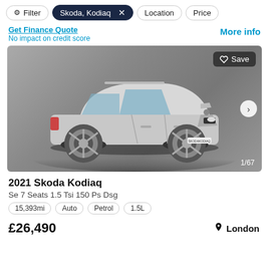Filter | Skoda, Kodiaq × | Location | Price
Get Finance Quote
No impact on credit score
More info
[Figure (photo): Silver Skoda Kodiaq SUV on a turntable showroom platform, grey background. Save button top right. Arrow navigation right. Image counter 1/67 bottom right.]
2021 Skoda Kodiaq
Se 7 Seats 1.5 Tsi 150 Ps Dsg
15,393mi
Auto
Petrol
1.5L
£26,490
London